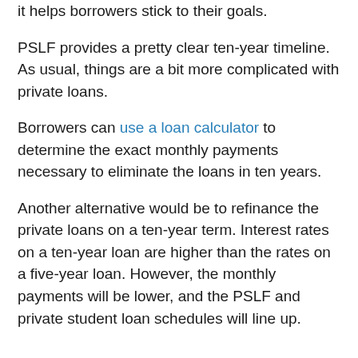it helps borrowers stick to their goals.
PSLF provides a pretty clear ten-year timeline. As usual, things are a bit more complicated with private loans.
Borrowers can use a loan calculator to determine the exact monthly payments necessary to eliminate the loans in ten years.
Another alternative would be to refinance the private loans on a ten-year term. Interest rates on a ten-year loan are higher than the rates on a five-year loan. However, the monthly payments will be lower, and the PSLF and private student loan schedules will line up.